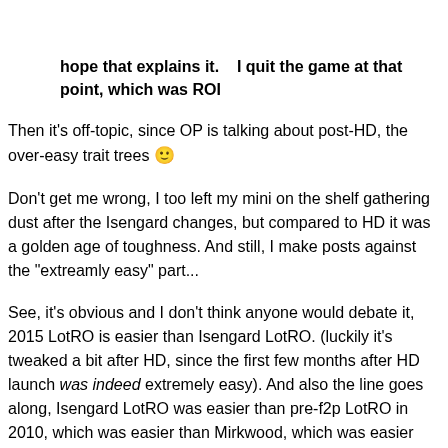hope that explains it.   I quit the game at that point, which was ROI
Then it's off-topic, since OP is talking about post-HD, the over-easy trait trees 🙂
Don't get me wrong, I too left my mini on the shelf gathering dust after the Isengard changes, but compared to HD it was a golden age of toughness. And still, I make posts against the "extreamly easy" part...
See, it's obvious and I don't think anyone would debate it, 2015 LotRO is easier than Isengard LotRO. (luckily it's tweaked a bit after HD, since the first few months after HD launch was indeed extremely easy). And also the line goes along, Isengard LotRO was easier than pre-f2p LotRO in 2010, which was easier than Mirkwood, which was easier than Moria LotRO.
BUT. That's not a LotRO issue, that's an issue with the whole industry. As I wrote above countless times, LotRO is not easier than any other mmo out there (if you play on level, might I add, turtle stone ftw). You could draw up a similar easy-fication line with every game, heck even for whole genres (still